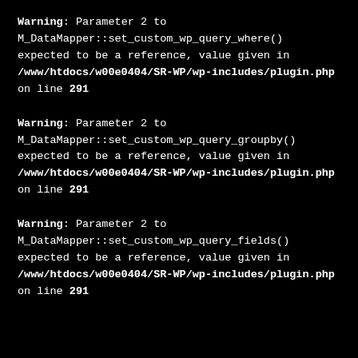Warning: Parameter 2 to M_DataMapper::set_custom_wp_query_where() expected to be a reference, value given in /www/htdocs/w00e0404/SR-WP/wp-includes/plugin.php on line 291
Warning: Parameter 2 to M_DataMapper::set_custom_wp_query_groupby() expected to be a reference, value given in /www/htdocs/w00e0404/SR-WP/wp-includes/plugin.php on line 291
Warning: Parameter 2 to M_DataMapper::set_custom_wp_query_fields() expected to be a reference, value given in /www/htdocs/w00e0404/SR-WP/wp-includes/plugin.php on line 291